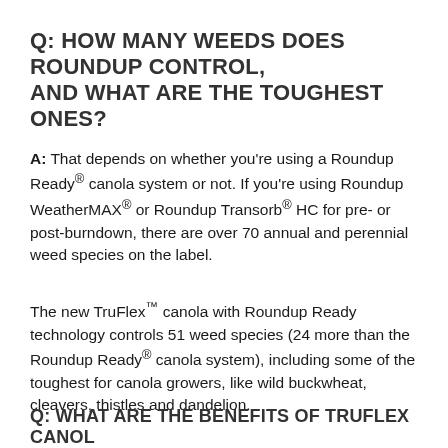Q: HOW MANY WEEDS DOES ROUNDUP CONTROL, AND WHAT ARE THE TOUGHEST ONES?
A: That depends on whether you're using a Roundup Ready® canola system or not. If you're using Roundup WeatherMAX® or Roundup Transorb® HC for pre- or post-burndown, there are over 70 annual and perennial weed species on the label.
The new TruFlex™ canola with Roundup Ready technology controls 51 weed species (24 more than the Roundup Ready® canola system), including some of the toughest for canola growers, like wild buckwheat, cleavers, thistles and dandelion.
Q: WHAT ARE THE BENEFITS OF TRUFLEX CANOL...